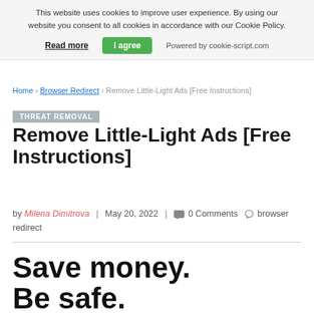This website uses cookies to improve user experience. By using our website you consent to all cookies in accordance with our Cookie Policy.
Read more | I agree | Powered by cookie-script.com
Home › Browser Redirect › Remove Little-Light Ads [Free Instructions]
THREAT REMOVAL
Remove Little-Light Ads [Free Instructions]
by Milena Dimitrova | May 20, 2022 | 0 Comments  browser redirect
Save money. Be safe.